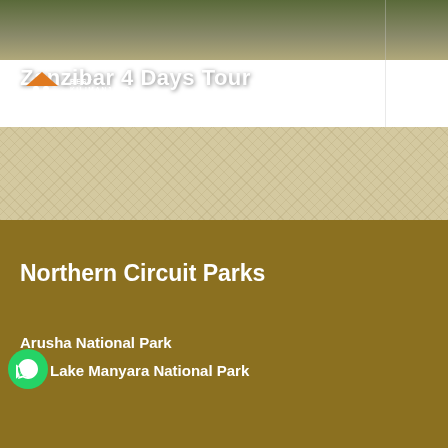[Figure (photo): Top banner image area showing an outdoor/safari landscape scene in olive and taupe tones]
Zanzibar 4 Days Tour
[Figure (logo): Best Kilimanjaro Treks & Safaris logo with orange roof/house icon and silhouette of two hikers]
[Figure (illustration): Hamburger menu icon (three horizontal white lines) in top right corner]
[Figure (photo): Textured sandy/fabric band dividing the header from the main content]
Northern Circuit Parks
Arusha National Park
[Figure (logo): WhatsApp green circle button icon]
Lake Manyara National Park